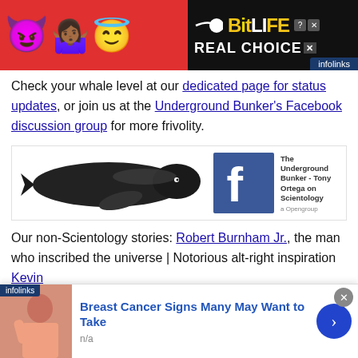[Figure (screenshot): BitLife app advertisement banner with emojis (devil, woman, angel) on red background, black panel with BitLife logo, sperm icon, REAL CHOICE text, and infolinks badge]
Check your whale level at our dedicated page for status updates, or join us at the Underground Bunker's Facebook discussion group for more frivolity.
[Figure (illustration): Black and white illustration of a large whale (humpback), next to a Facebook page icon for 'The Underground Bunker - Tony Ortega on Scientology']
Our non-Scientology stories: Robert Burnham Jr., the man who inscribed the universe | Notorious alt-right inspiration Kevin [infolinks] Donald and his theories about Jewish DNA | The selling of
[Figure (screenshot): Bottom advertisement: Breast Cancer Signs Many May Want to Take, with image of woman and n/a subtext, infolinks label, close X and arrow navigation button]